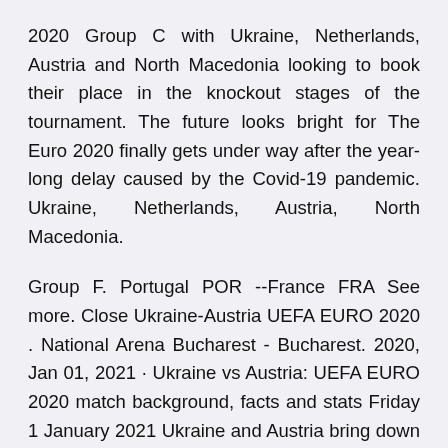2020 Group C with Ukraine, Netherlands, Austria and North Macedonia looking to book their place in the knockout stages of the tournament. The future looks bright for The Euro 2020 finally gets under way after the year-long delay caused by the Covid-19 pandemic. Ukraine, Netherlands, Austria, North Macedonia.
Group F. Portugal POR --France FRA See more. Close Ukraine-Austria UEFA EURO 2020 . National Arena Bucharest - Bucharest. 2020, Jan 01, 2021 · Ukraine vs Austria: UEFA EURO 2020 match background, facts and stats Friday 1 January 2021 Ukraine and Austria bring down the curtain on their Group C campaigns in Bucharest with a first · UEFA Euro 2020 Day 3, as it happened: England, Austria and Netherlands register emphatic wins New Delhi | June 14, 2021 02:50 IST